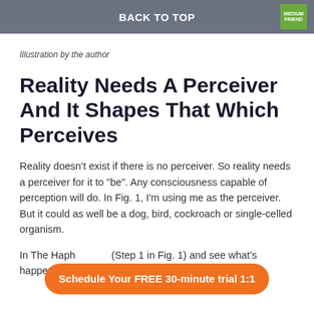BACK TO TOP
Illustration by the author
Reality Needs A Perceiver And It Shapes That Which Perceives
Reality doesn’t exist if there is no perceiver. So reality needs a perceiver for it to “be”. Any consciousness capable of perception will do. In Fig. 1, I’m using me as the perceiver. But it could as well be a dog, bird, cockroach or single-celled organism.
In The Haph… (Step 1 in Fig. 1) and see what’s happening. From that, I
[Figure (other): Orange CTA button with text: Schedule Your FREE 30-minute trial 1:1]